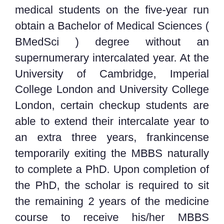medical students on the five-year run obtain a Bachelor of Medical Sciences ( BMedSci ) degree without an supernumerary intercalated year. At the University of Cambridge, Imperial College London and University College London, certain checkup students are able to extend their intercalate year to an extra three years, frankincense temporarily exiting the MBBS naturally to complete a PhD. Upon completion of the PhD, the scholar is required to sit the remaining 2 years of the medicine course to receive his/her MBBS degree. The University of the West Indies, Mona in Kingston, Jamaica automatically awards a Bachelor of Medical Sciences ( BMedSci ) degree to all students who have successfully completed three years of their MBBS course of study. [ 26 ]